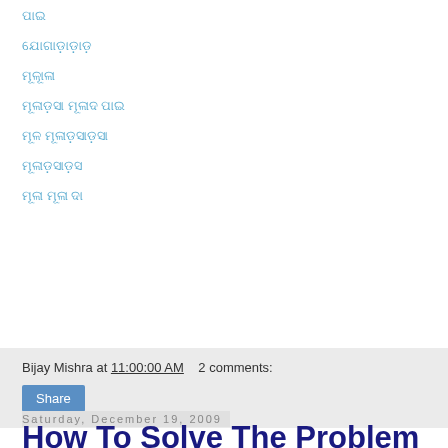ପାଇ
ଯୋଗାଡ଼ାଡ଼ାଡ଼
ମୂଳାୂଳା
ମୂଳାଡ଼ସା ମୂଳାଦ ପାଇ
ମୂଳ ମୂଳାଡ଼ସାଡ଼ସା
ମୂଳାଡ଼ସାଡ଼ସ
ମୂଳା ମୂଳା ଦା
Bijay Mishra at 11:00:00 AM   2 comments:
Share
Saturday, December 19, 2009
How To Solve The Problem Of Hard